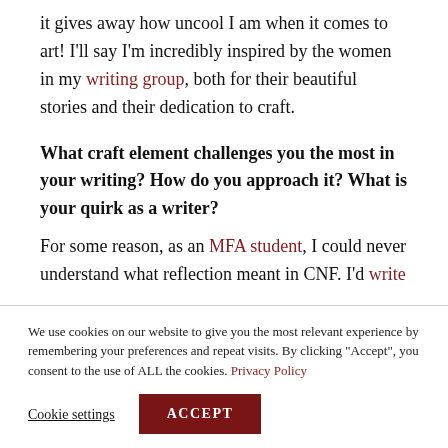it gives away how uncool I am when it comes to art! I'll say I'm incredibly inspired by the women in my writing group, both for their beautiful stories and their dedication to craft.
What craft element challenges you the most in your writing? How do you approach it? What is your quirk as a writer?
For some reason, as an MFA student, I could never understand what reflection meant in CNF. I'd write
We use cookies on our website to give you the most relevant experience by remembering your preferences and repeat visits. By clicking "Accept", you consent to the use of ALL the cookies. Privacy Policy
Cookie settings | ACCEPT